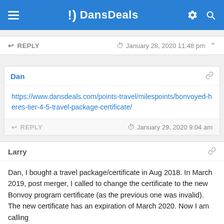DansDeals
REPLY  January 28, 2020 11:48 pm
Dan
https://www.dansdeals.com/points-travel/milespoints/bonvoyed-heres-tier-4-5-travel-package-certificate/
REPLY  January 29, 2020 9:04 am
Larry
Dan, I bought a travel package/certificate in Aug 2018. In March 2019, post merger, I called to change the certificate to the new Bonvoy program certificate (as the previous one was invalid). The new certificate has an expiration of March 2020. Now I am calling